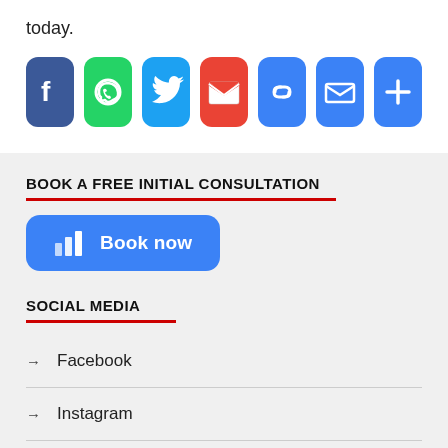today.
[Figure (screenshot): Row of social sharing icons: Facebook (blue), WhatsApp (green), Twitter (light blue), Gmail (red), Link (blue), Email (blue), More/Plus (blue)]
BOOK A FREE INITIAL CONSULTATION
[Figure (screenshot): Blue rounded button with bar-chart icon and text 'Book now']
SOCIAL MEDIA
→ Facebook
→ Instagram
→ Email